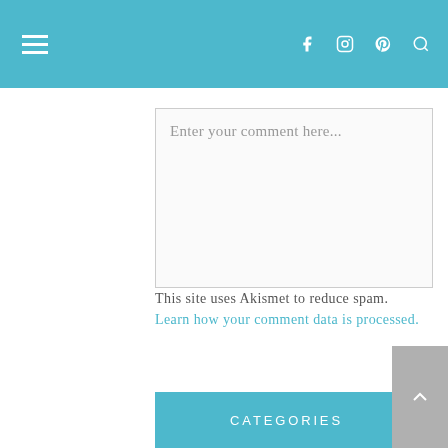Navigation header with hamburger menu and social icons (Facebook, Instagram, Pinterest, Search)
Enter your comment here...
This site uses Akismet to reduce spam. Learn how your comment data is processed.
Search and hit enter...
CATEGORIES